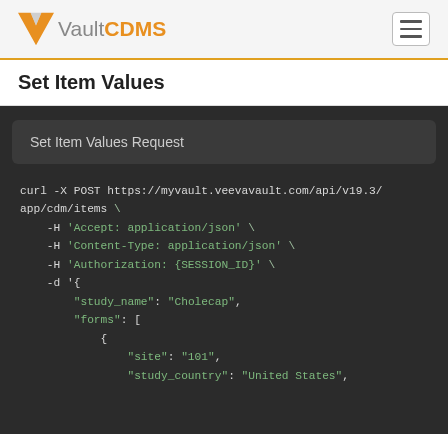Vault CDMS
Set Item Values
Set Item Values Request
curl -X POST https://myvault.veevavault.com/api/v19.3/app/cdm/items \
    -H 'Accept: application/json' \
    -H 'Content-Type: application/json' \
    -H 'Authorization: {SESSION_ID}' \
    -d '{
        "study_name": "Cholecap",
        "forms": [
            {
                "site": "101",
                "study_country": "United States",